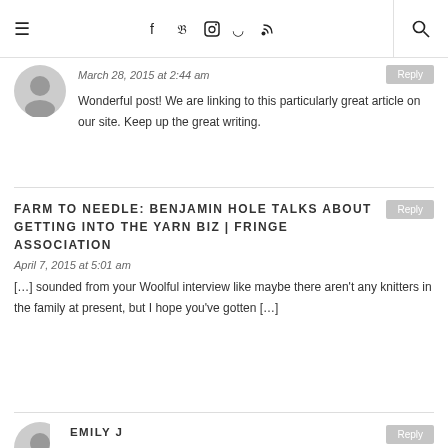≡ [social icons] 🔍
March 28, 2015 at 2:44 am
Wonderful post! We are linking to this particularly great article on our site. Keep up the great writing.
FARM TO NEEDLE: BENJAMIN HOLE TALKS ABOUT GETTING INTO THE YARN BIZ | FRINGE ASSOCIATION
April 7, 2015 at 5:01 am
[…] sounded from your Woolful interview like maybe there aren't any knitters in the family at present, but I hope you've gotten […]
EMILY J